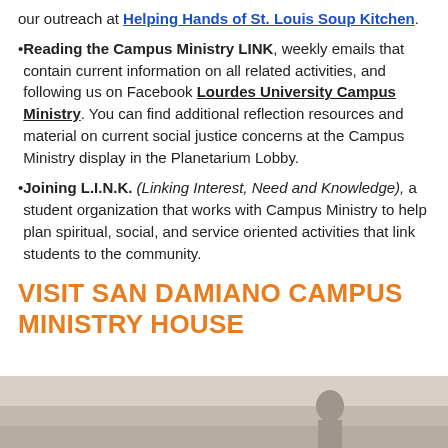our outreach at Helping Hands of St. Louis Soup Kitchen.
Reading the Campus Ministry LINK, weekly emails that contain current information on all related activities, and following us on Facebook Lourdes University Campus Ministry. You can find additional reflection resources and material on current social justice concerns at the Campus Ministry display in the Planetarium Lobby.
Joining L.I.N.K. (Linking Interest, Need and Knowledge), a student organization that works with Campus Ministry to help plan spiritual, social, and service oriented activities that link students to the community.
VISIT SAN DAMIANO CAMPUS MINISTRY HOUSE
[Figure (photo): Photo strip showing interior of San Damiano Campus Ministry House with a person visible]